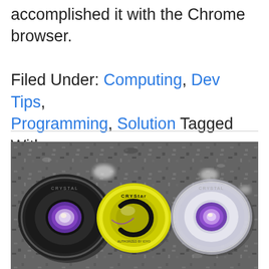accomplished it with the Chrome browser. Filed Under: Computing, Dev Tips, Programming, Solution Tagged With: Chrome, JavaScript
[Figure (photo): Three yoyos (Crystal brand) on a granite countertop. Left is dark/black colored, center is yellow shown from top, right is clear/transparent. All have iridescent purple inner mechanisms visible.]